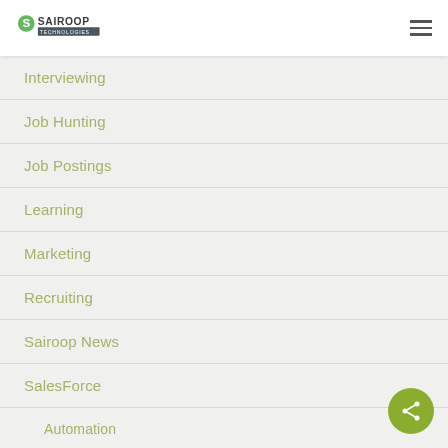Sairoop Technologies
Interviewing
Job Hunting
Job Postings
Learning
Marketing
Recruiting
Sairoop News
SalesForce
Automation
Integrations